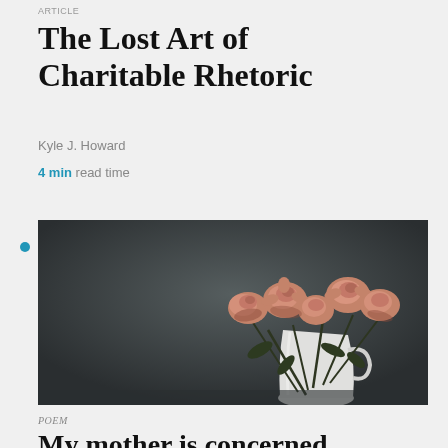ARTICLE
The Lost Art of Charitable Rhetoric
Kyle J. Howard
4 min read time
[Figure (photo): Dried/wilted roses in shades of pink and dusty rose arranged in a white ceramic pitcher/jug, photographed against a dark gray background]
POEM
My mother is concerned